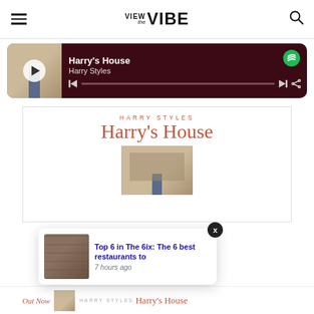VIEW the VIBE
[Figure (screenshot): Spotify embedded player showing Harry's House by Harry Styles with album art, play button, progress bar, and Spotify logo]
[Figure (illustration): Harry's House album card showing artist name HARRY STYLES, album title Harry's House in coral/orange text, and album artwork photo]
[Figure (screenshot): Popup notification card showing restaurant image with text: Top 6 in The 6ix: The 6 best restaurants to, 7 hours ago]
Out Now
[Figure (illustration): Bottom strip showing small album art thumbnails and Harry's House text]